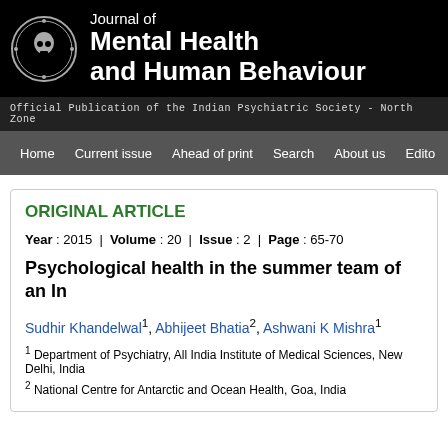[Figure (logo): Journal logo with circular emblem of Indian Psychiatric Society and journal title text on black background]
Official Publication of the Indian Psychiatric Society - North Zone
Home | Current issue | Ahead of print | Search | About us | Edito
ORIGINAL ARTICLE
Year : 2015 | Volume : 20 | Issue : 2 | Page : 65-70
Psychological health in the summer team of an In
Sudhir Khandelwal1, Abhijeet Bhatia2, Ashwani K Mishra1
1 Department of Psychiatry, All India Institute of Medical Sciences, New Delhi, India
2 National Centre for Antarctic and Ocean Health, Goa, India